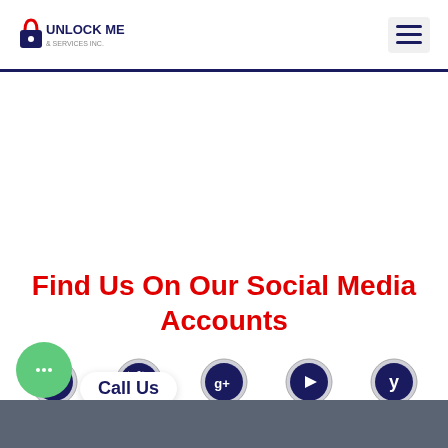Unlock Me & Services Inc. [logo] [hamburger menu]
Find Us On Our Social Media Accounts
[Figure (infographic): Row of 5 social media icon circles: Facebook, Twitter, Google+, YouTube, Yelp — all dark navy circles with silver ring borders]
[Figure (infographic): Row of 3 social media icon circles: Tumblr/arrow, LinkedIn, Web/globe — dark navy circles with silver ring borders]
[Figure (infographic): Green circle chat bubble icon with '...' and 'Call Us' label beside it]